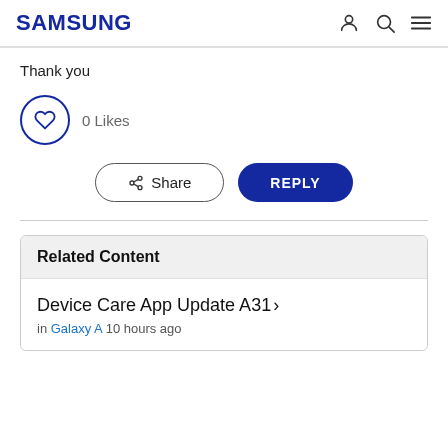SAMSUNG
Thank you
0 Likes
Share  REPLY
Related Content
Device Care App Update A31 > in Galaxy A 10 hours ago